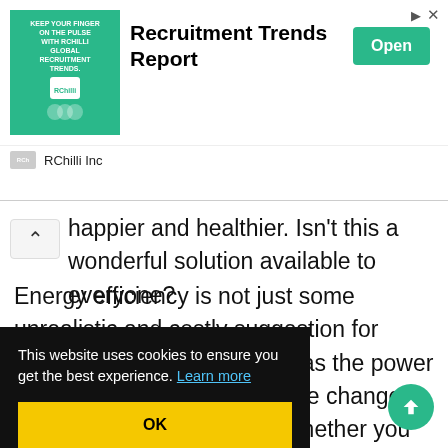[Figure (infographic): Advertisement banner for 'Recruitment Trends Report' by RChilli Inc with a green background image, bold title, and an 'Open' button.]
happier and healthier. Isn't this a wonderful solution available to everyone?
Energy efficiency is not just some unrealistic and costly suggestion for modern houses. Everyone has the power to make some of these simple changes in their homes, regardless whether you are just renting a [...]ty of the [...]nergy, you not [...]ge step in [...], such as pollution, greenhouse gas emissions and land
This website uses cookies to ensure you get the best experience. Learn more
OK